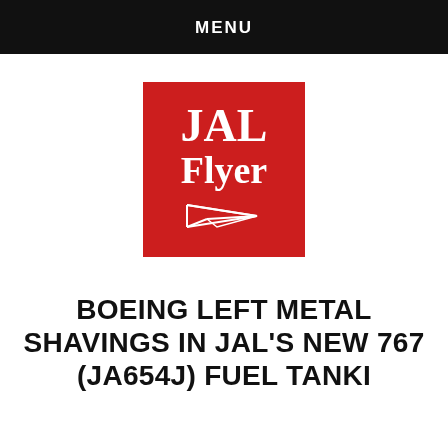MENU
[Figure (logo): JAL Flyer logo: red square background with white bold serif text 'JAL' and 'Flyer', with a white stylized paper airplane icon below]
BOEING LEFT METAL SHAVINGS IN JAL'S NEW 767 (JA654J) FUEL TANKI…